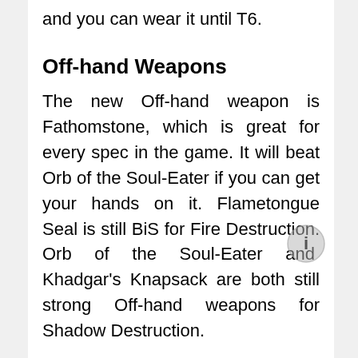and you can wear it until T6.
Off-hand Weapons
The new Off-hand weapon is Fathomstone, which is great for every spec in the game. It will beat Orb of the Soul-Eater if you can get your hands on it. Flametongue Seal is still BiS for Fire Destruction. Orb of the Soul-Eater and Khadgar's Knapsack are both still strong Off-hand weapons for Shadow Destruction.